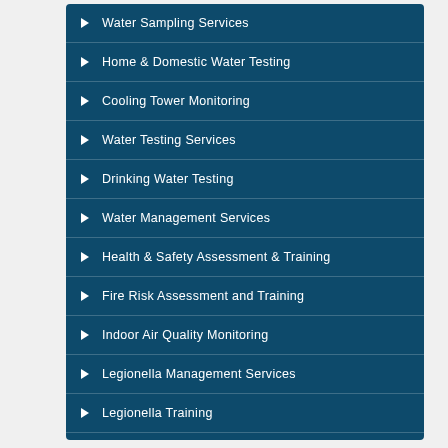Water Sampling Services
Home & Domestic Water Testing
Cooling Tower Monitoring
Water Testing Services
Drinking Water Testing
Water Management Services
Health & Safety Assessment & Training
Fire Risk Assessment and Training
Indoor Air Quality Monitoring
Legionella Management Services
Legionella Training
Legionella Policy Formation & Auditing